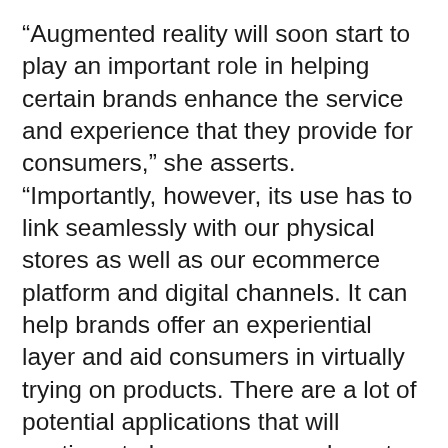“Augmented reality will soon start to play an important role in helping certain brands enhance the service and experience that they provide for consumers,” she asserts. “Importantly, however, its use has to link seamlessly with our physical stores as well as our ecommerce platform and digital channels. It can help brands offer an experiential layer and aid consumers in virtually trying on products. There are a lot of potential applications that will continue to become more relevant as we move forward.”
These insights are but a taste of the full breadth of discussion enjoyed by these retail leaders during this dynamic roundtable. Retail Insider